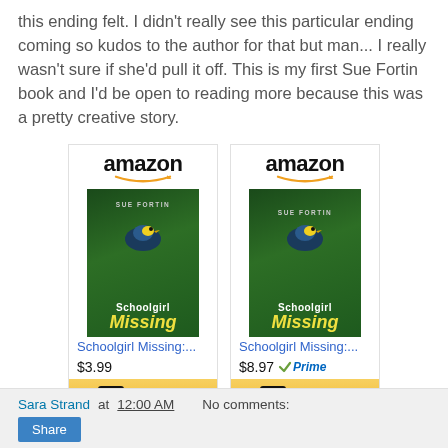this ending felt. I didn't really see this particular ending coming so kudos to the author for that but man... I really wasn't sure if she'd pull it off. This is my first Sue Fortin book and I'd be open to reading more because this was a pretty creative story.
[Figure (other): Two Amazon product widgets side by side for 'Schoolgirl Missing' by Sue Fortin. Left widget shows price $3.99, right widget shows $8.97 with Prime badge. Both have 'Shop now' buttons.]
Sara Strand at 12:00 AM    No comments: